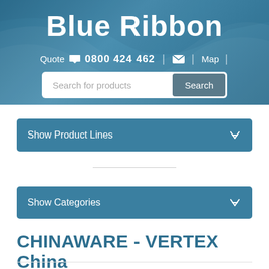Blue Ribbon
Quote  0800 424 462  |  Map
Search for products  Search
Show Product Lines
Show Categories
CHINAWARE - VERTEX China